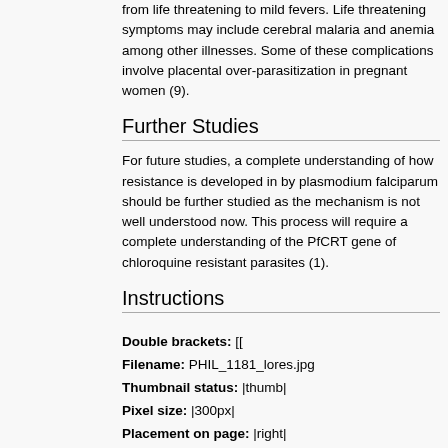from life threatening to mild fevers. Life threatening symptoms may include cerebral malaria and anemia among other illnesses. Some of these complications involve placental over-parasitization in pregnant women (9).
Further Studies
For future studies, a complete understanding of how resistance is developed in by plasmodium falciparum should be further studied as the mechanism is not well understood now. This process will require a complete understanding of the PfCRT gene of chloroquine resistant parasites (1).
Instructions
Double brackets: [[
Filename: PHIL_1181_lores.jpg
Thumbnail status: |thumb|
Pixel size: |300px|
Placement on page: |right|
Legend/credit: Plasmodium falciparum life